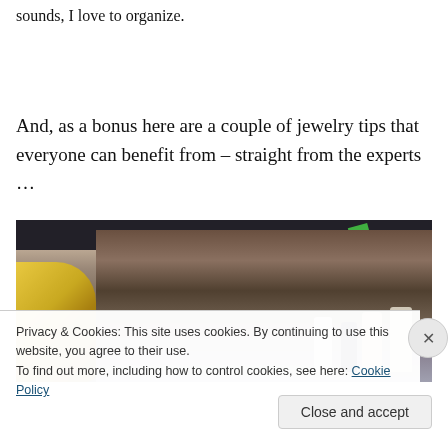sounds, I love to organize.
And, as a bonus here are a couple of jewelry tips that everyone can benefit from – straight from the experts …
[Figure (photo): Photo of a cluttered jewelry/craft workspace showing shelves with bottles, boxes, wooden items, and a blonde person partially visible on the left side.]
Privacy & Cookies: This site uses cookies. By continuing to use this website, you agree to their use.
To find out more, including how to control cookies, see here: Cookie Policy
Close and accept